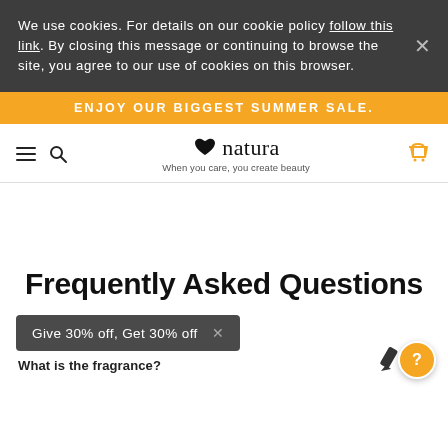We use cookies. For details on our cookie policy follow this link. By closing this message or continuing to browse the site, you agree to our use of cookies on this browser.
ENJOY OUR BIGGEST SUMMER SALE.
[Figure (logo): Natura brand logo with leaf icon and tagline 'When you care, you create beauty']
Frequently Asked Questions
Give 30% off, Get 30% off
What is the fragrance?